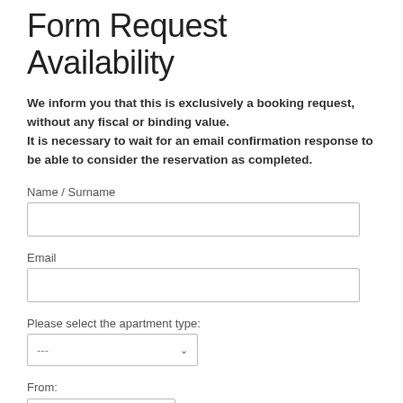Form Request Availability
We inform you that this is exclusively a booking request, without any fiscal or binding value. It is necessary to wait for an email confirmation response to be able to consider the reservation as completed.
Name / Surname
Email
Please select the apartment type:
From:
To: